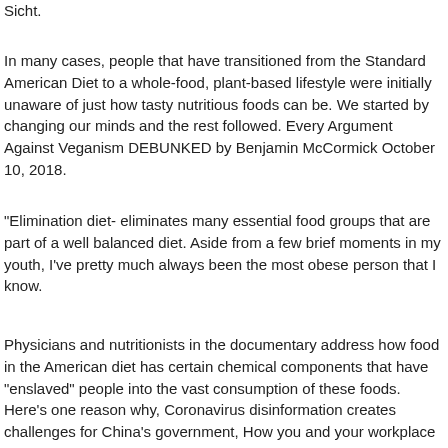Sicht.
In many cases, people that have transitioned from the Standard American Diet to a whole-food, plant-based lifestyle were initially unaware of just how tasty nutritious foods can be. We started by changing our minds and the rest followed. Every Argument Against Veganism DEBUNKED by Benjamin McCormick October 10, 2018.
"Elimination diet- eliminates many essential food groups that are part of a well balanced diet. Aside from a few brief moments in my youth, I've pretty much always been the most obese person that I know.
Physicians and nutritionists in the documentary address how food in the American diet has certain chemical components that have "enslaved" people into the vast consumption of these foods. Here's one reason why, Coronavirus disinformation creates challenges for China's government, How you and your workplace can protect yourselves from the novel coronavirus, shortage of masks in the